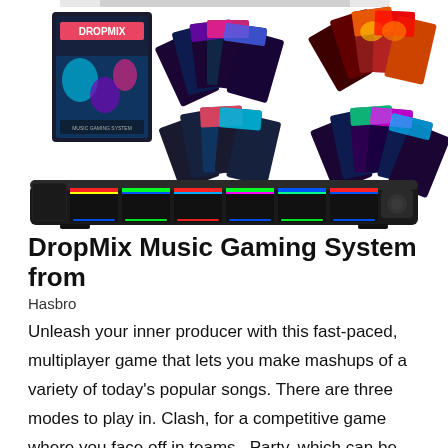[Figure (photo): Product photos of the DropMix Music Gaming System showing the game box, multiple fans of playing cards with colorful designs, and the black electronic game board with colored LED light strips across the top of six card slots.]
DropMix Music Gaming System from Hasbro
Unleash your inner producer with this fast-paced, multiplayer game that lets you make mashups of a variety of today's popular songs. There are three modes to play in. Clash, for a competitive game where you face off in teams., Party, which can be competitive or cooperative, and Freestyle, which